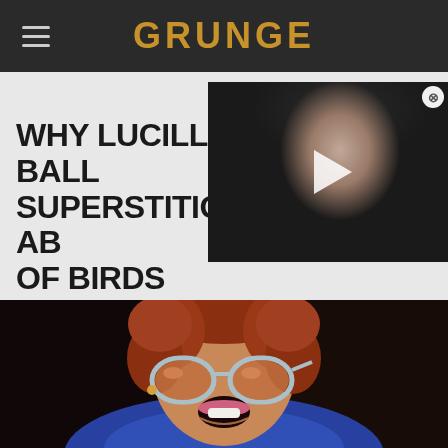GRUNGE
WHY LUCILLE BALL WAS SUPERSTITIOUS ABOUT IMAGES OF BIRDS
[Figure (screenshot): Video thumbnail showing a dark-haired woman with a play button overlay, and a close (X) button in top right corner]
[Figure (photo): Close-up photo of Lucille Ball laughing with large round tinted sunglasses, curly auburn hair, wearing a blue outfit]